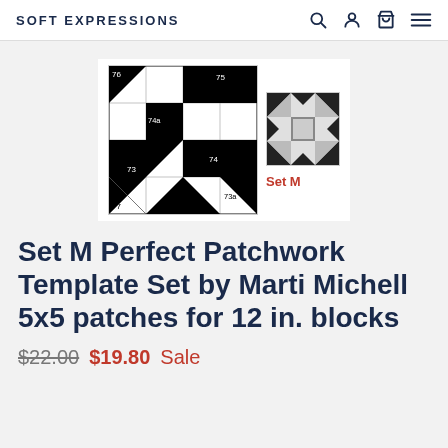SOFT EXPRESSIONS
[Figure (illustration): Patchwork quilt template block diagrams: a large black and white numbered grid block with pieces labeled 73, 73a, 74, 74a, 75, 76, 77, and a smaller example block showing the completed star pattern in grey and black. Label 'Set M' in red appears to the right of the smaller block.]
Set M Perfect Patchwork Template Set by Marti Michell 5x5 patches for 12 in. blocks
$22.00  $19.80 Sale